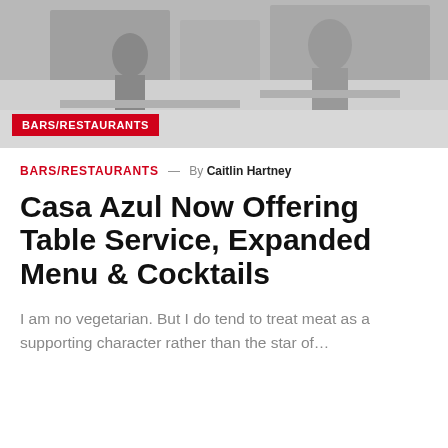[Figure (photo): Grayscale photo of a restaurant or bar interior scene, dimly lit with figures and furniture visible]
BARS/RESTAURANTS
BARS/RESTAURANTS — By Caitlin Hartney
Casa Azul Now Offering Table Service, Expanded Menu & Cocktails
I am no vegetarian. But I do tend to treat meat as a supporting character rather than the star of…